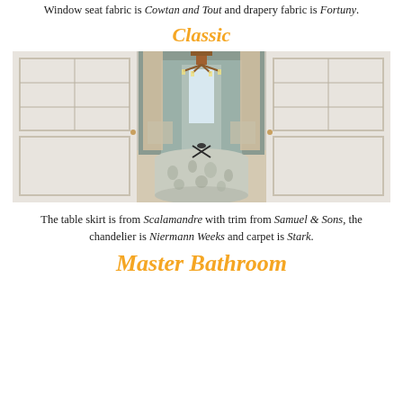Window seat fabric is Cowtan and Tout and drapery fabric is Fortuny.
Classic
[Figure (photo): Interior room photo showing a classic dining/living space viewed through open French doors, with a round table covered in a floral fabric skirt in the center, a chandelier above, built-in white bookshelves on the left, and chairs visible in the background.]
The table skirt is from Scalamandre with trim from Samuel & Sons, the chandelier is Niermann Weeks and carpet is Stark.
Master Bathroom